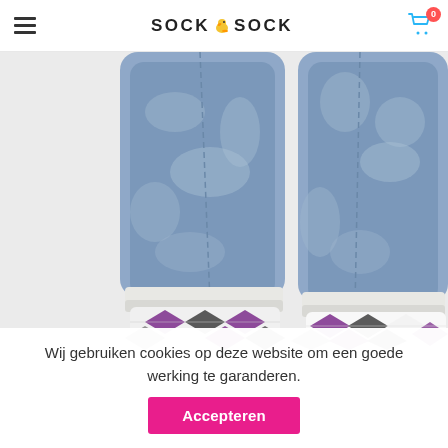SOCK & SOCK
[Figure (photo): Close-up photo of a person's lower legs wearing blue acid-wash jeans rolled up at the ankles, showing colorful argyle/geometric patterned socks in white, purple, black, and grey. The background is white/light grey.]
Wij gebruiken cookies op deze website om een goede werking te garanderen.
Accepteren